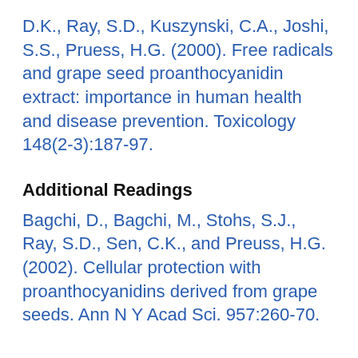D.K., Ray, S.D., Kuszynski, C.A., Joshi, S.S., Pruess, H.G. (2000). Free radicals and grape seed proanthocyanidin extract: importance in human health and disease prevention. Toxicology 148(2-3):187-97.
Additional Readings
Bagchi, D., Bagchi, M., Stohs, S.J., Ray, S.D., Sen, C.K., and Preuss, H.G. (2002). Cellular protection with proanthocyanidins derived from grape seeds. Ann N Y Acad Sci. 957:260-70.